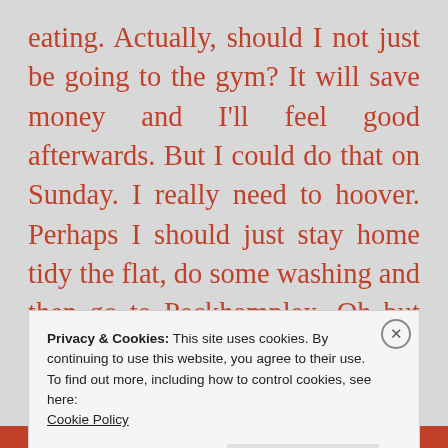eating. Actually, should I not just be going to the gym? It will save money and I'll feel good afterwards. But I could do that on Sunday. I really need to hoover. Perhaps I should just stay home tidy the flat, do some washing and then go to Peckhamplex. Oh but the times don't really work....and this went on and on until I caved in and decided that I was
Privacy & Cookies: This site uses cookies. By continuing to use this website, you agree to their use.
To find out more, including how to control cookies, see here:
Cookie Policy

Close and accept